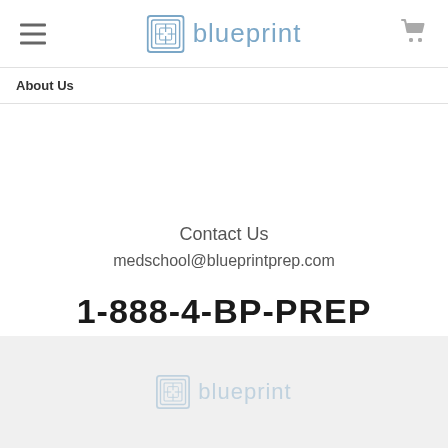blueprint
About Us
Contact Us
medschool@blueprintprep.com
1-888-4-BP-PREP
[Figure (logo): Blueprint logo in footer - faded square maze icon with 'blueprint' text in light blue]
blueprint